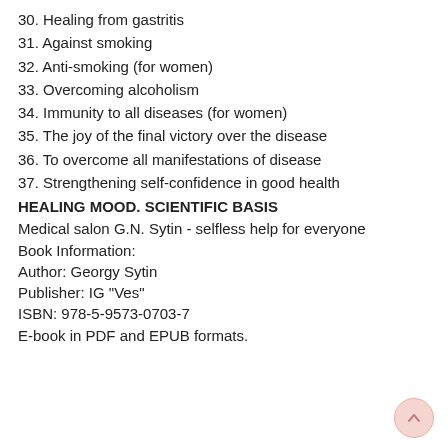30. Healing from gastritis
31. Against smoking
32. Anti-smoking (for women)
33. Overcoming alcoholism
34. Immunity to all diseases (for women)
35. The joy of the final victory over the disease
36. To overcome all manifestations of disease
37. Strengthening self-confidence in good health
HEALING MOOD. SCIENTIFIC BASIS
Medical salon G.N. Sytin - selfless help for everyone
Book Information:
Author: Georgy Sytin
Publisher: IG "Ves"
ISBN: 978-5-9573-0703-7
E-book in PDF and EPUB formats.